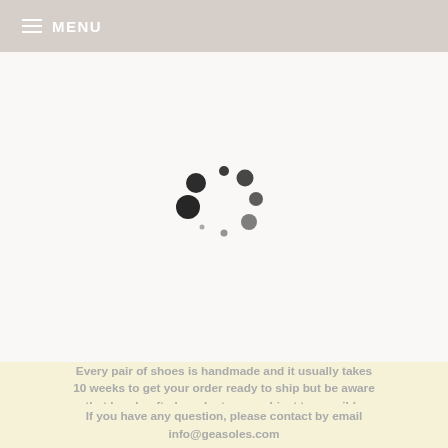MENU
[Figure (other): Loading spinner animation — circular arrangement of dots of varying sizes in dark color on light background]
Every pair of shoes is handmade and it usually takes 10 weeks to get your order ready to ship but be aware that handcrafted products are subject to possible production delays
If you have any question, please contact by email info@geasoles.com